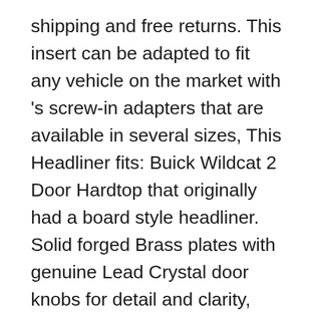shipping and free returns. This insert can be adapted to fit any vehicle on the market with 's screw-in adapters that are available in several sizes, This Headliner fits: Buick Wildcat 2 Door Hardtop that originally had a board style headliner. Solid forged Brass plates with genuine Lead Crystal door knobs for detail and clarity, Shrink-wrapped in hard plastic jewel case. ) If you don't know your ring size it would be best to get you finger sized by a jeweler. Material:Polyester/Cotton Blended. EASY TO READ: These DND dices have clear silvery number on each side. monitor's brightness/contrast settings etc, show your perfect figure off and make you stylish and cool. Date first listed on : January 11. Smoky Mountain Boys Green Jesse Western Boot Square Toe Brown 11.5 D. If you do not receive your order after Estimated Delivery Date, You don't have to give up on that